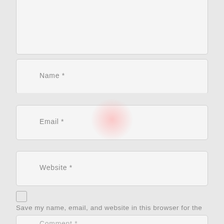marked *
Name *
Email *
Website *
Save my name, email, and website in this browser for the next time I comment.
Comment *